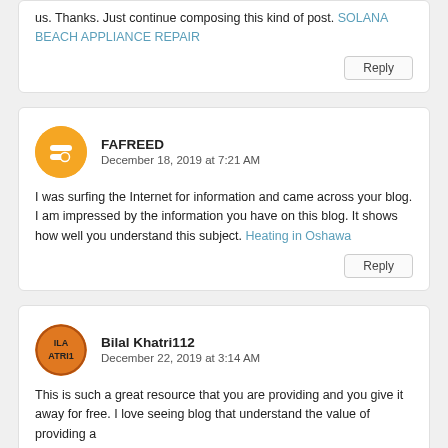us. Thanks. Just continue composing this kind of post. SOLANA BEACH APPLIANCE REPAIR
Reply
FAFREED
December 18, 2019 at 7:21 AM
I was surfing the Internet for information and came across your blog. I am impressed by the information you have on this blog. It shows how well you understand this subject. Heating in Oshawa
Reply
Bilal Khatri112
December 22, 2019 at 3:14 AM
This is such a great resource that you are providing and you give it away for free. I love seeing blog that understand the value of providing a